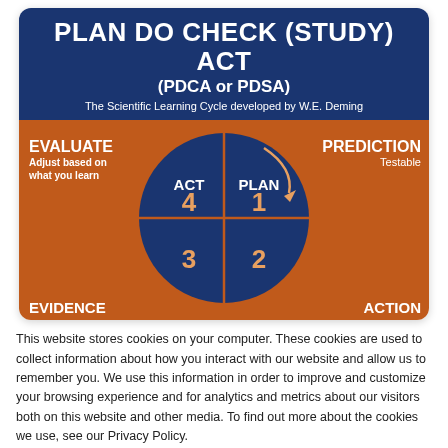[Figure (infographic): PDCA/PDSA cycle diagram showing a circle divided into four quadrants labeled ACT (4), PLAN (1), CHECK (2), DO (3), on an orange background with EVALUATE, PREDICTION, EVIDENCE, ACTION labels, and an arrow indicating the cycle direction.]
This website stores cookies on your computer. These cookies are used to collect information about how you interact with our website and allow us to remember you. We use this information in order to improve and customize your browsing experience and for analytics and metrics about our visitors both on this website and other media. To find out more about the cookies we use, see our Privacy Policy.
Accept
Don't ask me again